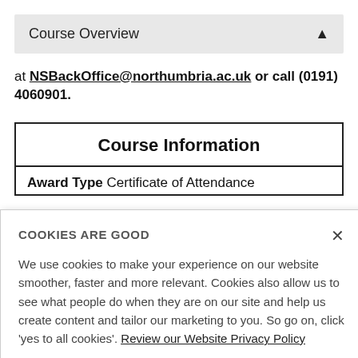Course Overview
at NSBackOffice@northumbria.ac.uk or call (0191) 4060901.
| Course Information |
| --- |
| Award Type  Certificate of Attendance |
COOKIES ARE GOOD
We use cookies to make your experience on our website smoother, faster and more relevant. Cookies also allow us to see what people do when they are on our site and help us create content and tailor our marketing to you. So go on, click 'yes to all cookies'. Review our Website Privacy Policy
Yes to all cookies